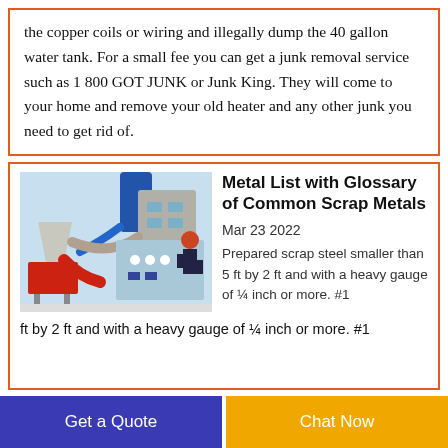the copper coils or wiring and illegally dump the 40 gallon water tank. For a small fee you can get a junk removal service such as 1 800 GOT JUNK or Junk King. They will come to your home and remove your old heater and any other junk you need to get rid of.
[Figure (photo): Industrial scrap metal processing machinery with blue and red components, pipes, and a worker in a hard hat operating a control panel.]
Metal List with Glossary of Common Scrap Metals
Mar 23 2022
Prepared scrap steel smaller than 5 ft by 2 ft and with a heavy gauge of ¼ inch or more. #1